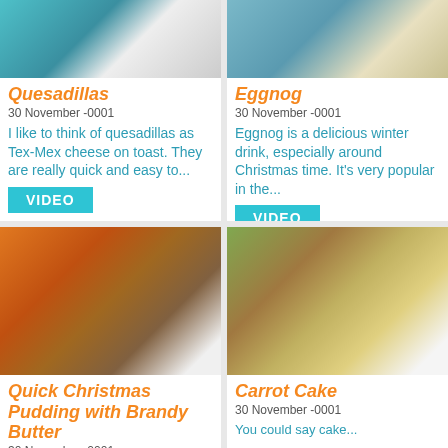[Figure (photo): Photo of quesadillas on a blue plate]
Quesadillas
30 November -0001
I like to think of quesadillas as Tex-Mex cheese on toast. They are really quick and easy to...
VIDEO
[Figure (photo): Photo of eggnog in a glass]
Eggnog
30 November -0001
Eggnog is a delicious winter drink, especially around Christmas time. It's very popular in the...
VIDEO
[Figure (photo): Photo of Quick Christmas Pudding with Brandy Butter on an angel plate]
Quick Christmas Pudding with Brandy Butter
30 November -0001
[Figure (photo): Photo of Carrot Cake slices with white frosting]
Carrot Cake
30 November -0001